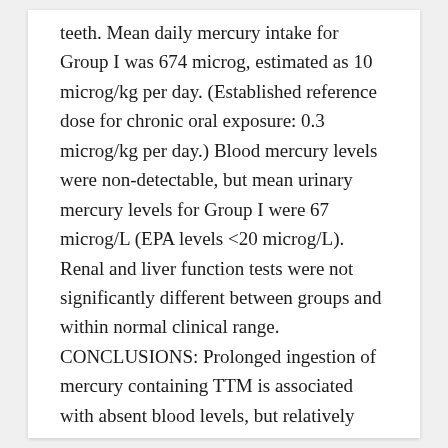teeth. Mean daily mercury intake for Group I was 674 microg, estimated as 10 microg/kg per day. (Established reference dose for chronic oral exposure: 0.3 microg/kg per day.) Blood mercury levels were non-detectable, but mean urinary mercury levels for Group I were 67 microg/L (EPA levels <20 microg/L). Renal and liver function tests were not significantly different between groups and within normal clinical range. CONCLUSIONS: Prolonged ingestion of mercury containing TTM is associated with absent blood levels, but relatively high urinary levels. Further studies are needed to